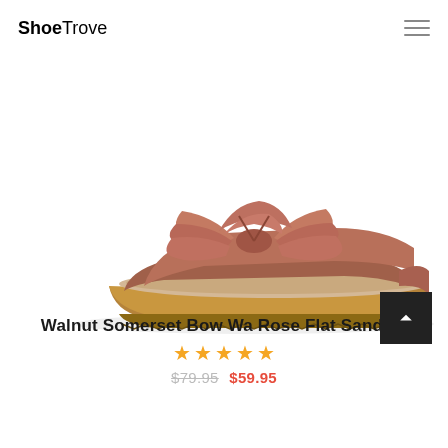ShoeTrove
[Figure (photo): Side profile of a rose-colored flat sandal with a ruffled bow accent on the upper strap and a cork-look footbed sole. Product photography on white background.]
Walnut Somerset Bow Wa Rose Flat Sandals
★★★★★
$79.95 $59.95